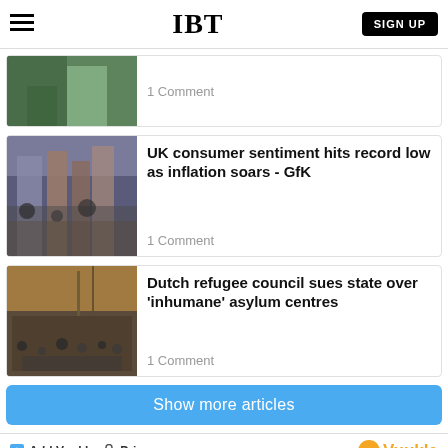IBT | SIGN UP
1 Comment
[Figure (photo): Partial article image showing a person in front of a green background]
UK consumer sentiment hits record low as inflation soars - GfK
1 Comment
[Figure (photo): Outdoor street market scene with people and stalls]
Dutch refugee council sues state over 'inhumane' asylum centres
1 Comment
[Figure (photo): Refugee camp with tent and many people on the ground]
Show more articles
Add Vuukle  Privacy  Vuukle